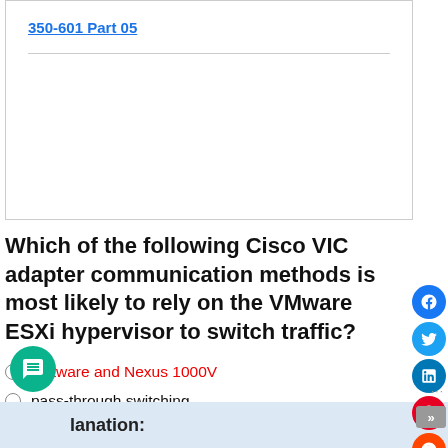350-601 Part 05
Which of the following Cisco VIC adapter communication methods is most likely to rely on the VMware ESXi hypervisor to switch traffic?
software and Nexus 1000V
pass-through switching
bare-metal OS driver
store-and-forward switching
Explanation: